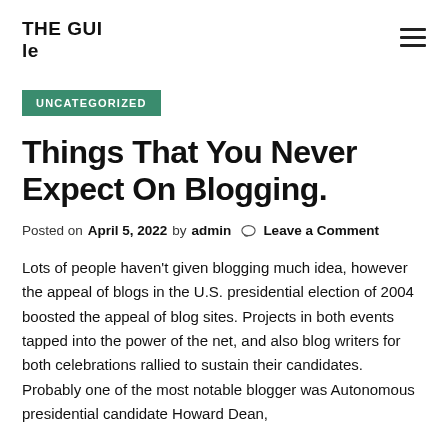THE GUIle
UNCATEGORIZED
Things That You Never Expect On Blogging.
Posted on April 5, 2022 by admin  Leave a Comment
Lots of people haven't given blogging much idea, however the appeal of blogs in the U.S. presidential election of 2004 boosted the appeal of blog sites. Projects in both events tapped into the power of the net, and also blog writers for both celebrations rallied to sustain their candidates. Probably one of the most notable blogger was Autonomous presidential candidate Howard Dean,